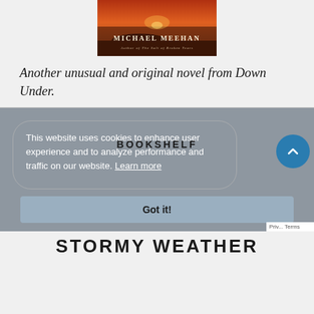[Figure (illustration): Book cover showing 'Michael Meehan, Author of The Salt of Broken Tears' with a warm sunset landscape background]
Another unusual and original novel from Down Under.
This website uses cookies to enhance user experience and to analyze performance and traffic on our website. Learn more
BOOKSHELF
Got it!
STORMY WEATHER